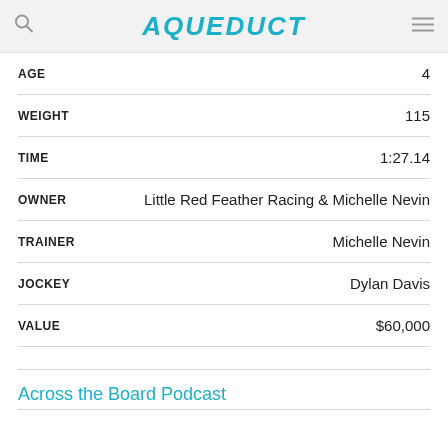AQUEDUCT
| Field | Value |
| --- | --- |
| AGE | 4 |
| WEIGHT | 115 |
| TIME | 1:27.14 |
| OWNER | Little Red Feather Racing & Michelle Nevin |
| TRAINER | Michelle Nevin |
| JOCKEY | Dylan Davis |
| VALUE | $60,000 |
Across the Board Podcast